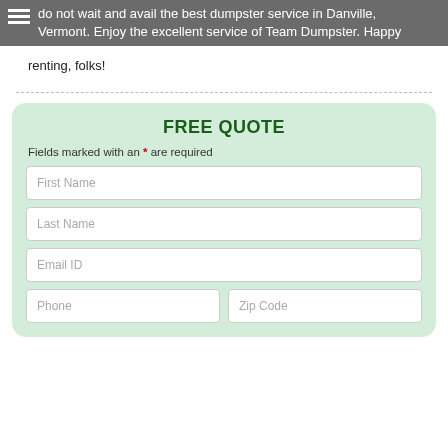do not wait and avail the best dumpster service in Danville, Vermont. Enjoy the excellent service of Team Dumpster. Happy renting, folks!
Fields marked with an * are required
FREE QUOTE
First Name
Last Name
Email ID
Phone
Zip Code